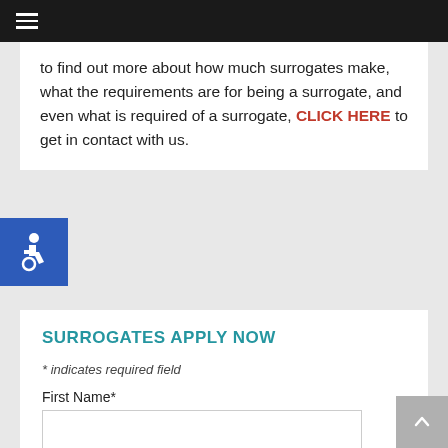Navigation menu
to find out more about how much surrogates make, what the requirements are for being a surrogate, and even what is required of a surrogate, CLICK HERE to get in contact with us.
[Figure (illustration): Accessibility icon — white wheelchair symbol on blue square background]
SURROGATES APPLY NOW
* indicates required field
First Name*
Last Name*